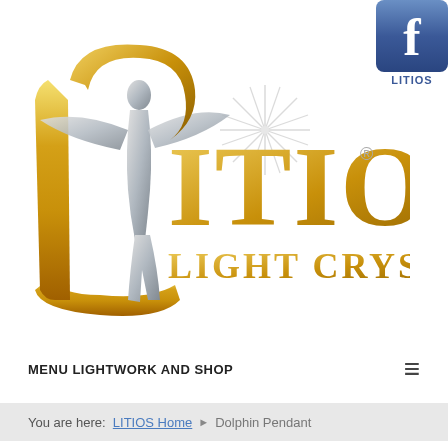[Figure (logo): Facebook button icon with blue background and white 'f' letter, with 'LITIOS' label below]
[Figure (logo): LITIOS Light Crystals logo featuring a golden stylized letter L with an angel/figure silhouette in silver, large golden text 'ITIOS' with registered trademark symbol, and 'LIGHT CRYSTALS' subtitle in gold, plus a starburst design in the background]
MENU LIGHTWORK AND SHOP
You are here:  LITIOS Home  ▶  Dolphin Pendant